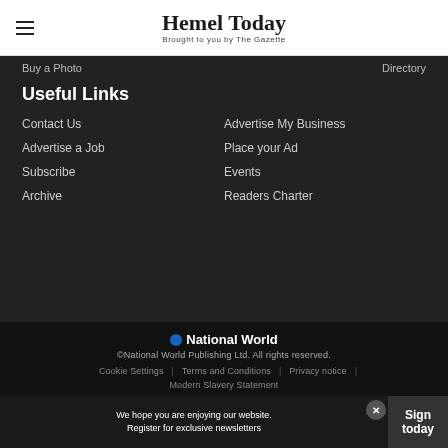Hemel Today — Brought to you by The Gazette
Buy a Photo
Directory
Useful Links
Contact Us
Advertise My Business
Advertise a Job
Place your Ad
Subscribe
Events
Archive
Readers Charter
National World — ©National World Publishing Ltd. All rights reserved. — Cookie Settings | Terms and Conditions | Privacy notice | Modern Slavery Statement
We hope you are enjoying our website. Register for exclusive newsletters